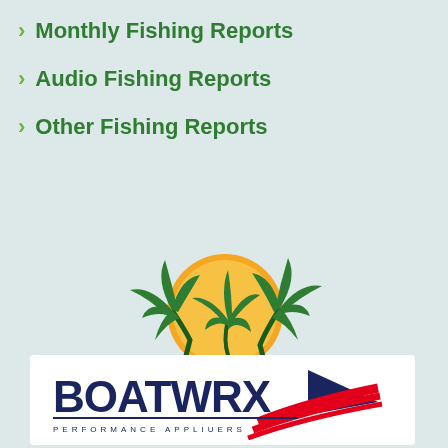Monthly Fishing Reports
Audio Fishing Reports
Other Fishing Reports
[Figure (logo): BigSurf Waterpark Lake of the Ozarks logo with palm trees and orange sun]
[Figure (logo): BOATWRX Performance Appliuers logo with red speed lines and dark navy text on white background]